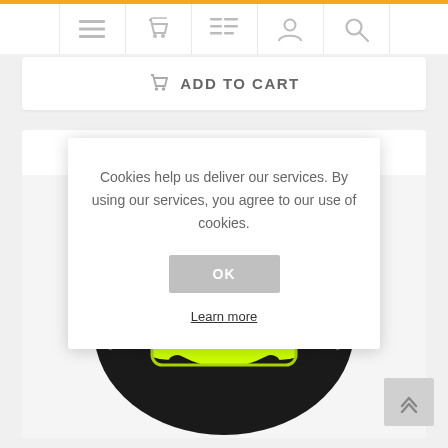[Figure (screenshot): Navigation bar with icons: hamburger menu, shopping basket, list/order icon, user account icon, search icon]
ADD TO CART
Cookies help us deliver our services. By using our services, you agree to our use of cookies.
OK
Learn more
[Figure (photo): Julius-K9 dog harness in neon yellow/green and black colors, showing the brand name 'julius-K9' on the front panel]